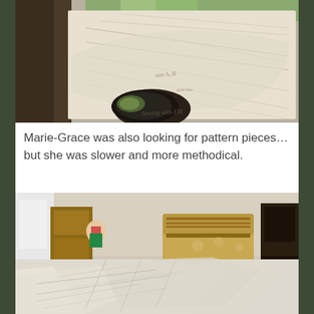[Figure (photo): Close-up photo of sewing pattern pieces spread out, with a watermark reading 'Sewing with Elli' visible, plants in background.]
Marie-Grace was also looking for pattern pieces… but she was slower and more methodical.
[Figure (photo): Photo of two American Girl dolls with sewing pattern pieces spread across a table, a decorative trunk visible in the background.]